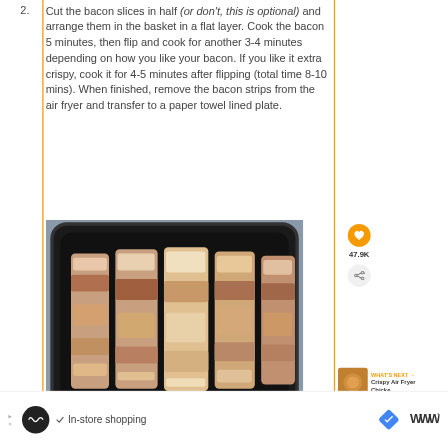Cut the bacon slices in half (or don't, this is optional) and arrange them in the basket in a flat layer. Cook the bacon 5 minutes, then flip and cook for another 3-4 minutes depending on how you like your bacon. If you like it extra crispy, cook it for 4-5 minutes after flipping (total time 8-10 mins). When finished, remove the bacon strips from the air fryer and transfer to a paper towel lined plate.
[Figure (photo): Photo of raw bacon strips laid flat in a dark air fryer basket, viewed from above]
47.9K
WHAT'S NEXT → Crispy Air Fryer Chicke...
In-store shopping